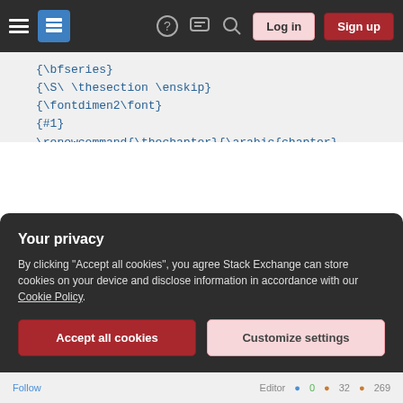[Figure (screenshot): Stack Exchange navigation bar with hamburger menu, logo, help icon, chat icon, search icon, Log in and Sign up buttons on dark background]
{\bfseries}
{\S\ \thesection \enskip}
{\fontdimen2\font}
{#1}
\renewcommand{\thechapter}{\arabic{chapter}}
\renewcommand{\thesection}{\thechapter\arab

\pagestyle{scrheadings}
\clearpairofpagestyles
\ohead[]{\pagemark}
\lohead[]{\headmark}
\rehead{Title}
\setkomafont{pageheadfoot}{\scshape\footnot
Your privacy
By clicking "Accept all cookies", you agree Stack Exchange can store cookies on your device and disclose information in accordance with our Cookie Policy.
Accept all cookies
Customize settings
Follow  Editor  0  32  269